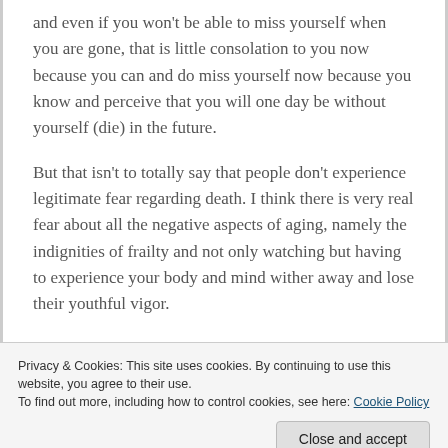and even if you won't be able to miss yourself when you are gone, that is little consolation to you now because you can and do miss yourself now because you know and perceive that you will one day be without yourself (die) in the future.
But that isn't to totally say that people don't experience legitimate fear regarding death. I think there is very real fear about all the negative aspects of aging, namely the indignities of frailty and not only watching but having to experience your body and mind wither away and lose their youthful vigor.
People fear the foreboding pains of carcinomic
Privacy & Cookies: This site uses cookies. By continuing to use this website, you agree to their use.
To find out more, including how to control cookies, see here: Cookie Policy
like a broken fingernail, though far more painful